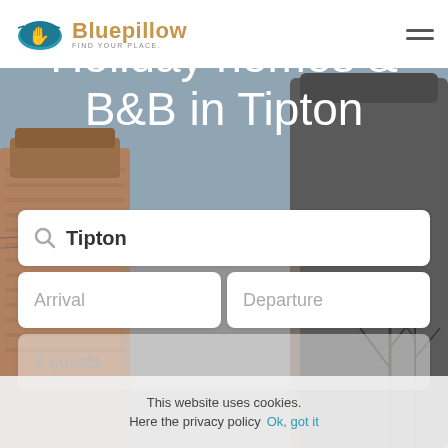[Figure (logo): Bluepillow logo with teal pillow icon and brown text reading 'Bluepillow FIND YOUR PLACE.']
Holiday homes & B&B in Tipton
[Figure (photo): Background photo of industrial cooling towers and bare trees]
Tipton
Arrival
Departure
2 guests
This website uses cookies. Here the privacy policy Ok, got it